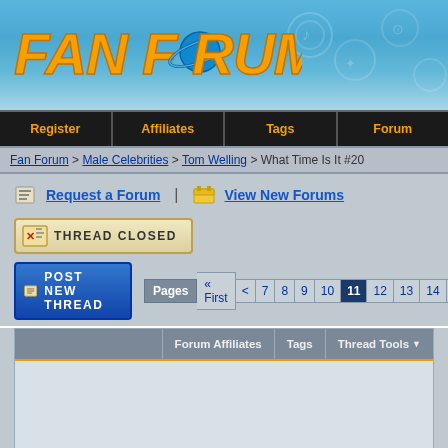[Figure (screenshot): Fan Forum website logo on blue gradient background header]
Register | Affiliates | Tags | Forum
Fan Forum > Male Celebrities > Tom Welling > What Time Is It #20
Request a Forum | View New Forums
[Figure (screenshot): THREAD CLOSED button with X icon]
[Figure (screenshot): POST NEW THREAD button with lines icon, and pagination: Pages « First < 7 8 9 10 11 12 13 14 15 >]
Forum Affiliates | Tags | Thread Tools